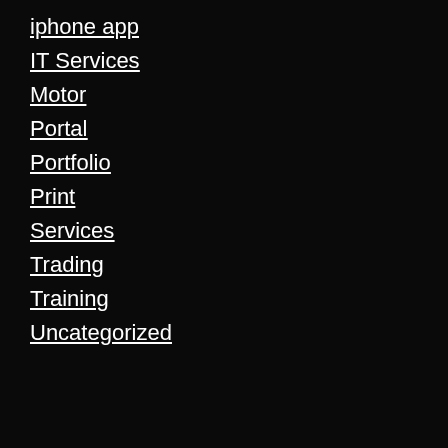iphone app
IT Services
Motor
Portal
Portfolio
Print
Services
Trading
Training
Uncategorized